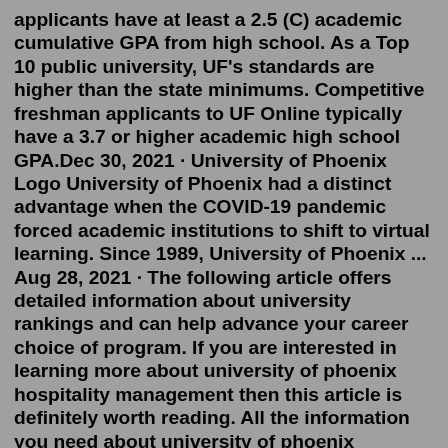applicants have at least a 2.5 (C) academic cumulative GPA from high school. As a Top 10 public university, UF's standards are higher than the state minimums. Competitive freshman applicants to UF Online typically have a 3.7 or higher academic high school GPA.Dec 30, 2021 · University of Phoenix Logo University of Phoenix had a distinct advantage when the COVID-19 pandemic forced academic institutions to shift to virtual learning. Since 1989, University of Phoenix ... Aug 28, 2021 · The following article offers detailed information about university rankings and can help advance your career choice of program. If you are interested in learning more about university of phoenix hospitality management then this article is definitely worth reading. All the information you need about university of phoenix scholarships, university of phoenix bachelor of science in The site lists college rankings, an online university degree search, and comprehensive profiles for every state university. Also, you can receive information about obtaining an